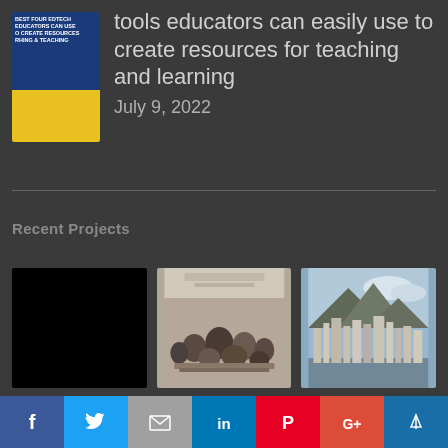[Figure (photo): Book thumbnail with blue and yellow cover about EdTech tools for educators]
tools educators can easily use to create resources for teaching and learning
July 9, 2022
Recent Projects
[Figure (photo): Black rectangle placeholder image]
[Figure (photo): Conference room with people seated at tables]
[Figure (photo): City skyline with mountains in background]
Privacy & Cookies: This site uses cookies. By continuing to use this website, you agree to their use.
To find out more, including how to control cookies, see here: Cookie Policy